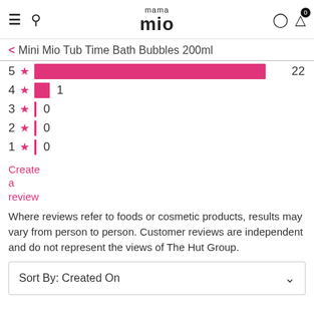mama mio — navigation header with hamburger, search, account, cart icons
< Mini Mio Tub Time Bath Bubbles 200ml
[Figure (bar-chart): Star rating distribution]
Create a review
Where reviews refer to foods or cosmetic products, results may vary from person to person. Customer reviews are independent and do not represent the views of The Hut Group.
Sort By: Created On